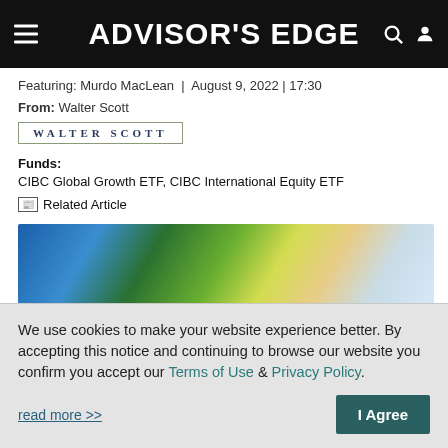ADVISOR'S EDGE
Featuring: Murdo MacLean  |  August 9, 2022  |  17:30
From: Walter Scott
[Figure (logo): Walter Scott company logo with border]
Funds:
CIBC Global Growth ETF, CIBC International Equity ETF
Related Article
[Figure (photo): Partial photo of a person near a blue car with green/yellow foliage visible]
We use cookies to make your website experience better. By accepting this notice and continuing to browse our website you confirm you accept our Terms of Use & Privacy Policy.
read more >>
I Agree